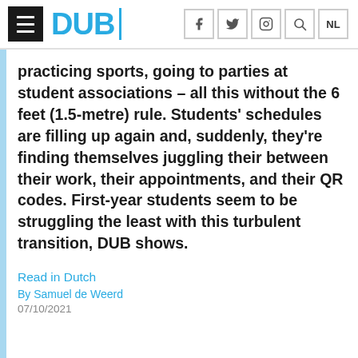DUB
practicing sports, going to parties at student associations – all this without the 6 feet (1.5-metre) rule. Students' schedules are filling up again and, suddenly, they're finding themselves juggling their between their work, their appointments, and their QR codes. First-year students seem to be struggling the least with this turbulent transition, DUB shows.
Read in Dutch
By Samuel de Weerd
07/10/2021